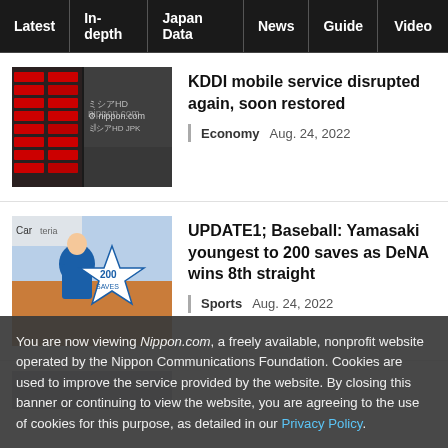Latest | In-depth | Japan Data | News | Guide | Video
[Figure (photo): Stock market ticker board showing Japanese stock prices in red, with nippon.com watermark]
KDDI mobile service disrupted again, soon restored
Economy   Aug. 24, 2022
[Figure (photo): Baseball player in blue uniform holding a 200 saves plaque, Carp/Carrera sign in background]
UPDATE1; Baseball: Yamasaki youngest to 200 saves as DeNA wins 8th straight
Sports   Aug. 24, 2022
[Figure (photo): Partially visible third article image]
You are now viewing Nippon.com, a freely available, nonprofit website operated by the Nippon Communications Foundation. Cookies are used to improve the service provided by the website. By closing this banner or continuing to view the website, you are agreeing to the use of cookies for this purpose, as detailed in our Privacy Policy.